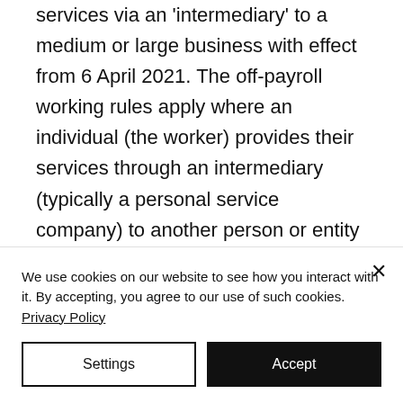services via an 'intermediary' to a medium or large business with effect from 6 April 2021. The off-payroll working rules apply where an individual (the worker) provides their services through an intermediary (typically a personal service company) to another person or entity (the client). The client will be required to make a Status Determination Statement (SDS) of a worker's status and communicate that determination. The client must
We use cookies on our website to see how you interact with it. By accepting, you agree to our use of such cookies. Privacy Policy